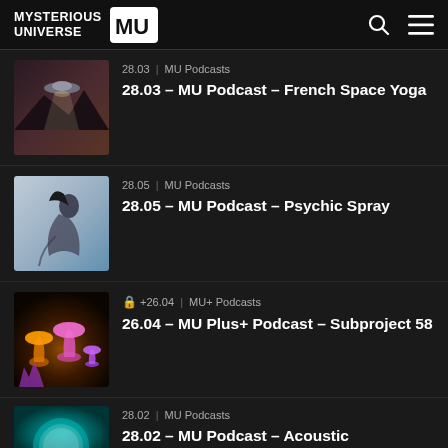Mysterious Universe
28.03 | MU Podcasts
28.03 – MU Podcast – French Space Yoga
28.05 | MU Podcasts
28.05 – MU Podcast – Psychic Spray
+26.04 | MU+ Podcasts
26.04 – MU Plus+ Podcast – Subproject 58
28.02 | MU Podcasts
28.02 – MU Podcast – Acoustic